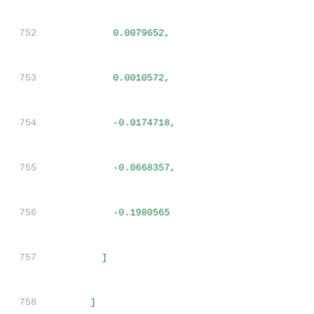Code listing lines 752-773 showing JSON/data structure with numeric array values and keys: related_pin, rise_power,power_outputs_1, index_1, index_2